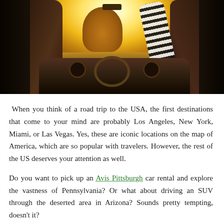[Figure (photo): Interior view of a car from the back seat, looking forward through the windshield toward a bright golden sunset. Two dark headrests are visible on the left and right. A person with curly hair and a striped sleeve is visible in the center, arms raised. The dashboard with steering wheel and circular vents is visible at the bottom.]
When you think of a road trip to the USA, the first destinations that come to your mind are probably Los Angeles, New York, Miami, or Las Vegas. Yes, these are iconic locations on the map of America, which are so popular with travelers. However, the rest of the US deserves your attention as well.
Do you want to pick up an Avis Pittsburgh car rental and explore the vastness of Pennsylvania? Or what about driving an SUV through the deserted area in Arizona? Sounds pretty tempting, doesn't it?